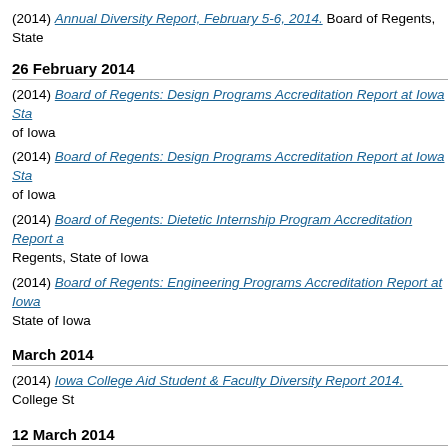(2014) Annual Diversity Report, February 5-6, 2014. Board of Regents, State
26 February 2014
(2014) Board of Regents: Design Programs Accreditation Report at Iowa Sta of Iowa
(2014) Board of Regents: Design Programs Accreditation Report at Iowa Sta of Iowa
(2014) Board of Regents: Dietetic Internship Program Accreditation Report a Regents, State of Iowa
(2014) Board of Regents: Engineering Programs Accreditation Report at Iow State of Iowa
March 2014
(2014) Iowa College Aid Student & Faculty Diversity Report 2014. College St
12 March 2014
(2014) Annual Report on Student Retention and Graduation Rates, March 12
24 April 2014